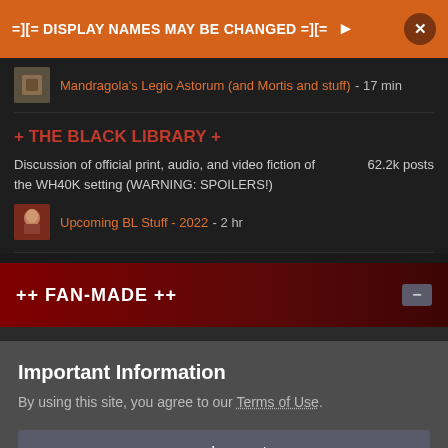=][= DISPLAY NAMES MAY BE CHANGED =][= >
Mandragola's Legio Astorum (and Mortis and stuff) - 17 min
+ THE BLACK LIBRARY +
Discussion of official print, audio, and video fiction of the WH40K setting (WARNING: SPOILERS!)   62.2k posts
Upcoming BL Stuff - 2022 - 2 hr
++ FAN-MADE ++
Important Information
By using this site, you agree to our Terms of Use.
✓  I accept